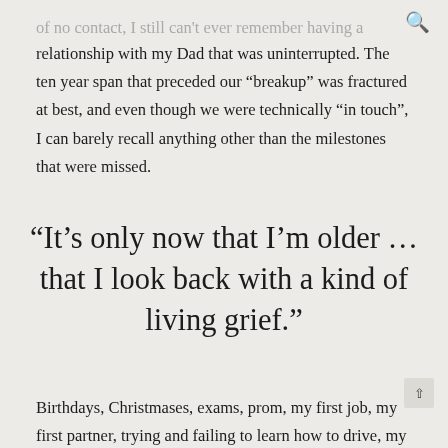🔍
of no contact, I still can't ever remember having a relationship with my Dad that was uninterrupted. The ten year span that preceded our “breakup” was fractured at best, and even though we were technically “in touch”, I can barely recall anything other than the milestones that were missed.
“It’s only now that I’m older … that I look back with a kind of living grief.”
Birthdays, Christmases, exams, prom, my first job, my first partner, trying and failing to learn how to drive, my second partner, my first home: I can’t say I acti missed his presence at the foothills of my life’s big